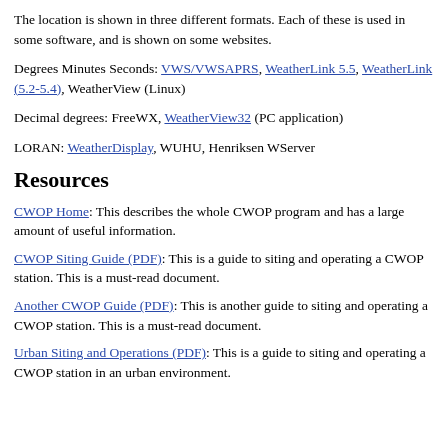The location is shown in three different formats. Each of these is used in some software, and is shown on some websites.
Degrees Minutes Seconds: VWS/VWSAPRS, WeatherLink 5.5, WeatherLink (5.2-5.4), WeatherView (Linux)
Decimal degrees: FreeWX, WeatherView32 (PC application)
LORAN: WeatherDisplay, WUHU, Henriksen WServer
Resources
CWOP Home: This describes the whole CWOP program and has a large amount of useful information.
CWOP Siting Guide (PDF): This is a guide to siting and operating a CWOP station. This is a must-read document.
Another CWOP Guide (PDF): This is another guide to siting and operating a CWOP station. This is a must-read document.
Urban Siting and Operations (PDF): This is a guide to siting and operating a CWOP station in an urban environment.